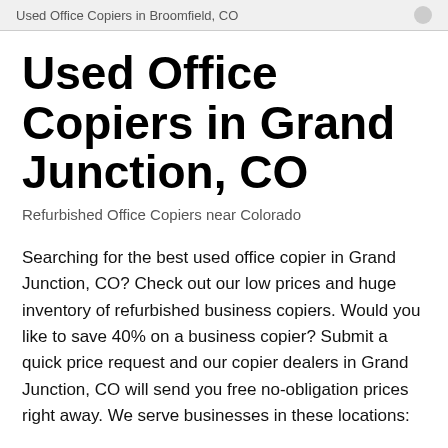Used Office Copiers in Broomfield, CO
Used Office Copiers in Grand Junction, CO
Refurbished Office Copiers near Colorado
Searching for the best used office copier in Grand Junction, CO? Check out our low prices and huge inventory of refurbished business copiers. Would you like to save 40% on a business copier? Submit a quick price request and our copier dealers in Grand Junction, CO will send you free no-obligation prices right away. We serve businesses in these locations:
State: Colorado
County: Mesa
Metro Area: Grand Junction Area
ZIP Codes: 81501, 81503, 81504, 81505, 81506, 81507